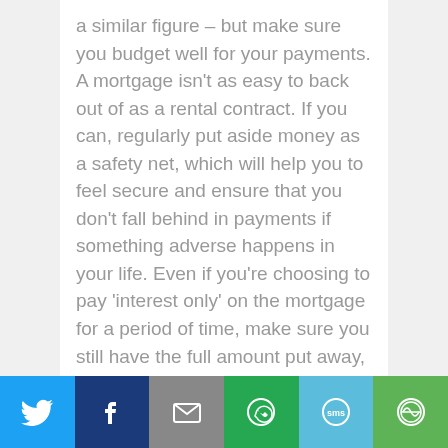a similar figure – but make sure you budget well for your payments. A mortgage isn't as easy to back out of as a rental contract. If you can, regularly put aside money as a safety net, which will help you to feel secure and ensure that you don't fall behind in payments if something adverse happens in your life. Even if you're choosing to pay 'interest only' on the mortgage for a period of time, make sure you still have the full amount put away, if necessary. 3. Stay organised Naturally, buying a home requires a great deal of paperwork, so it helps to be organised and to know what to expect. There will come a time when you're
Social share bar: Twitter, Facebook, Email, WhatsApp, SMS, More